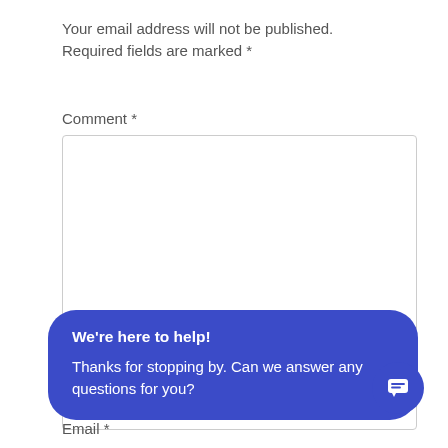Your email address will not be published. Required fields are marked *
Comment *
[Figure (screenshot): Empty comment textarea input field with border]
We're here to help!
Thanks for stopping by. Can we answer any questions for you?
N...
[Figure (screenshot): Empty name input field with border]
Email *
[Figure (illustration): Blue circular chat icon button with speech bubble icon]